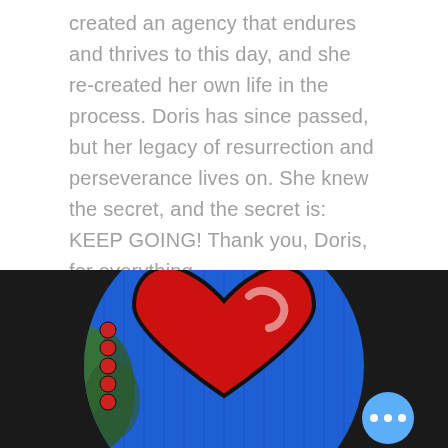created an agency that endures and thrives to this day, and she re-created her own life in the process. Doris has since passed, but her legacy of resurrection and perseverance lives on. She knew the secret, and the secret is: KEEP GOING! Thank you, Doris, for everything.
[Figure (photo): A circular photo of a large red heart painted on a bright blue wooden door/wall. Around the circle the background is dark/black. There is a blue circular button with three white dots (menu icon) in the lower right of the image.]